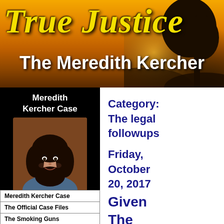True Justice
The Meredith Kercher
[Figure (photo): Portrait photo of Meredith Kercher, young woman with dark curly hair, smiling]
Meredith Kercher Case
System Comparisons
Pivotal Crime Cases
Search Engine
Meredith Kercher Case
The Official Case Files
The Smoking Guns
Category: The legal followups
Friday, October 20, 2017
Given The Semi-Public